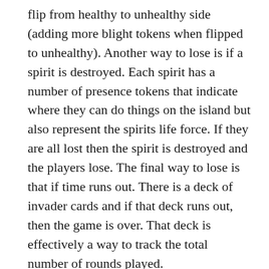flip from healthy to unhealthy side (adding more blight tokens when flipped to unhealthy). Another way to lose is if a spirit is destroyed. Each spirit has a number of presence tokens that indicate where they can do things on the island but also represent the spirits life force. If they are all lost then the spirit is destroyed and the players lose. The final way to lose is that if time runs out. There is a deck of invader cards and if that deck runs out, then the game is over. That deck is effectively a way to track the total number of rounds played.